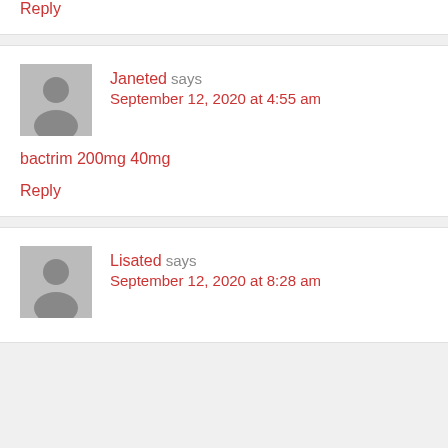Reply
Janeted says
September 12, 2020 at 4:55 am
bactrim 200mg 40mg
Reply
Lisated says
September 12, 2020 at 8:28 am